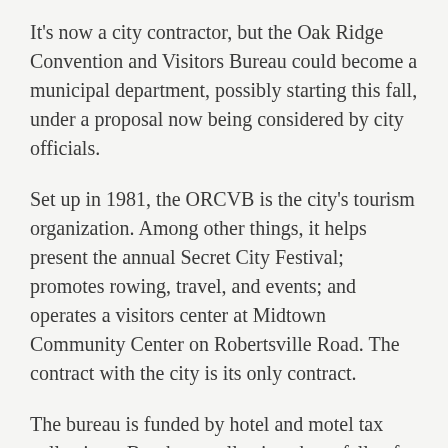It's now a city contractor, but the Oak Ridge Convention and Visitors Bureau could become a municipal department, possibly starting this fall, under a proposal now being considered by city officials.
Set up in 1981, the ORCVB is the city's tourism organization. Among other things, it helps present the annual Secret City Festival; promotes rowing, travel, and events; and operates a visitors center at Midtown Community Center on Robertsville Road. The contract with the city is its only contract.
The bureau is funded by hotel and motel tax collections. But those collections have fallen for the past four years, from roughly $550,000